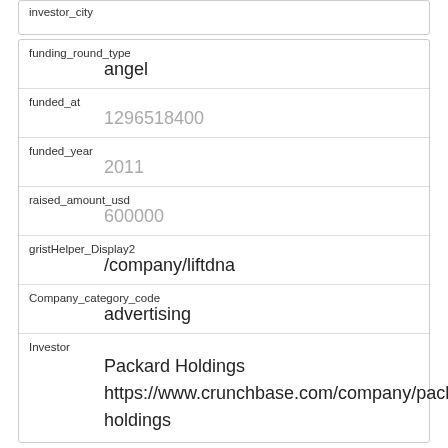investor_city
| funding_round_type | angel |
| funded_at | 1296518400 |
| funded_year | 2011 |
| raised_amount_usd | 600000 |
| gristHelper_Display2 | /company/liftdna |
| Company_category_code | advertising |
| Investor | Packard Holdings
https://www.crunchbase.com/company/packard-holdings |
Next page